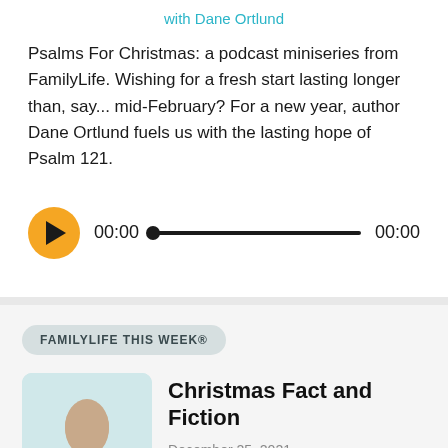with Dane Ortlund
Psalms For Christmas: a podcast miniseries from FamilyLife. Wishing for a fresh start lasting longer than, say... mid-February? For a new year, author Dane Ortlund fuels us with the lasting hope of Psalm 121.
[Figure (other): Audio player bar with orange play button, 00:00 start time, progress track, and 00:00 end time]
FAMILYLIFE THIS WEEK®
[Figure (photo): FamilyLife This Week podcast thumbnail showing a woman with dark hair against a teal and white background with FamilyLife This Week text]
Christmas Fact and Fiction
December 25, 2021